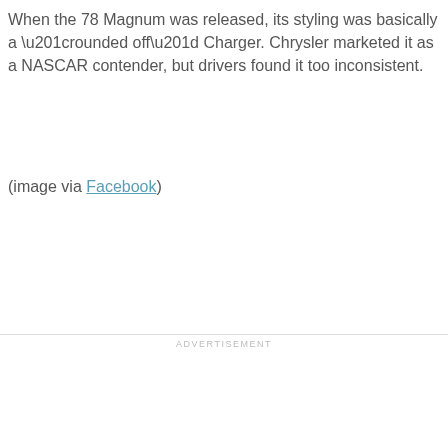When the 78 Magnum was released, its styling was basically a “rounded off” Charger. Chrysler marketed it as a NASCAR contender, but drivers found it too inconsistent.
(image via Facebook)
ADVERTISEMENT